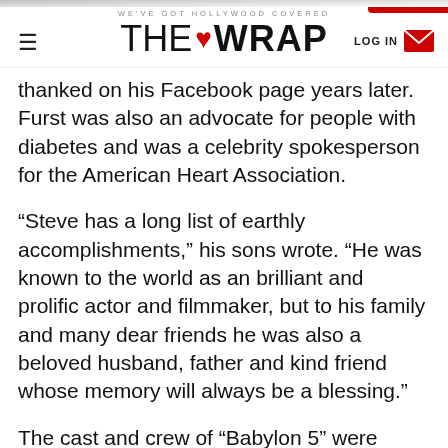WE'VE GOT HOLLYWOOD COVERED | THE WRAP | LOG IN
thanked on his Facebook page years later. Furst was also an advocate for people with diabetes and was a celebrity spokesperson for the American Heart Association.
“Steve has a long list of earthly accomplishments,” his sons wrote. “He was known to the world as an brilliant and prolific actor and filmmaker, but to his family and many dear friends he was also a beloved husband, father and kind friend whose memory will always be a blessing.”
The cast and crew of “Babylon 5” were known for being particularly close-knit, and appropriately they were among the first of Furst’s peers to pay tribute